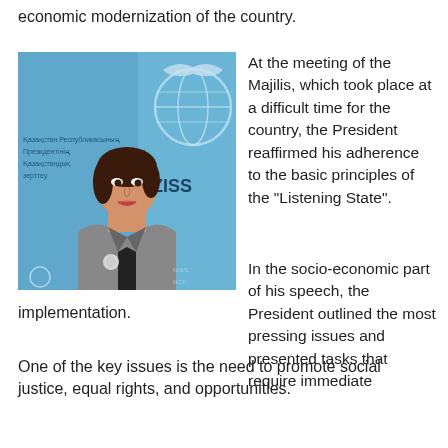economic modernization of the country.
[Figure (photo): Woman in gray blazer standing in front of a KAZISS banner with a globe and eagle logo. Text in background includes Kazakh language text related to the President of Kazakhstan.]
At the meeting of the Majilis, which took place at a difficult time for the country, the President reaffirmed his adherence to the basic principles of the "Listening State".
In the socio-economic part of his speech, the President outlined the most pressing issues and presented tasks that require immediate implementation.
One of the key issues is the need to promote social justice, equal rights, and opportunities.